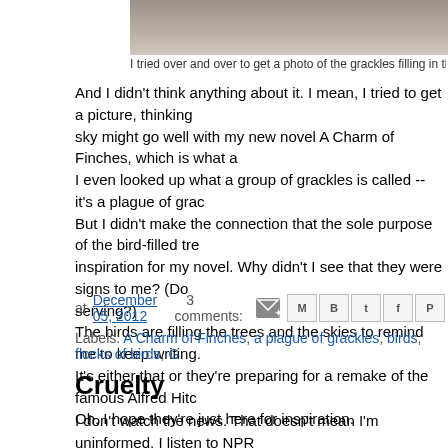[Figure (photo): Partial photo of grackles filling the sky, grayscale/muted tones, trees visible]
I tried over and over to get a photo of the grackles filling in the sky. I m
And I didn't think anything about it. I mean, I tried to get a picture, thinking sky might go well with my new novel A Charm of Finches, which is what a I even looked up what a group of grackles is called -- it's a plague of grac. But I didn't make the connection that the sole purpose of the bird-filled tre inspiration for my novel. Why didn't I see that they were signs to me? (Do serving?) The birds are filling the trees and the skies to remind me to keep writing. It's either that or they're preparing for a remake of the famous Alfred Hitc Oh, I hope they're just here for inspiration.
at December 05, 2012   3 comments:
Labels: A Charm of Finches, a plague of grackles, birds, flocks of birds, G
Cruelty
I don't watch the news. That doesn't mean I'm uninformed. I listen to NPR schooled in issues of the day, even if I didn't know who Snooki was for ye Yesterday, I heard on NPR that a man in his 50s was pushed in front of a and the man died. They were searching for the man who pushed him.